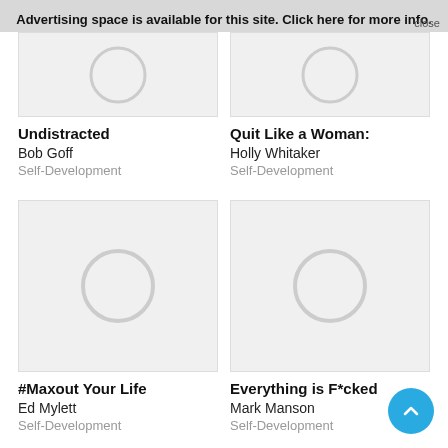Advertising space is available for this site. Click here for more info. close
[Figure (illustration): Book cover placeholder for Undistracted - grey circle on light background]
Undistracted
Bob Goff
Self-Development
[Figure (illustration): Book cover placeholder for Quit Like a Woman - grey circle on light background]
Quit Like a Woman:
Holly Whitaker
Self-Development
[Figure (illustration): Book cover placeholder for #Maxout Your Life - grey circle on light background]
#Maxout Your Life
Ed Mylett
Self-Development
[Figure (illustration): Book cover placeholder for Everything is F*cked - grey circle on light background]
Everything is F*cked
Mark Manson
Self-Development